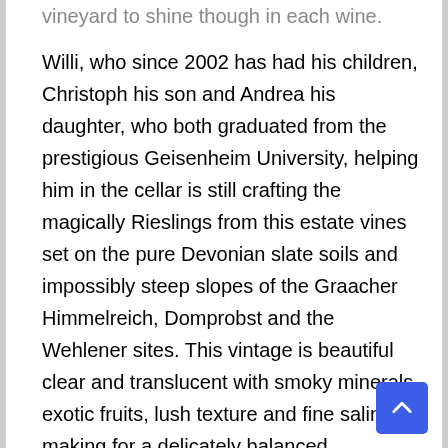vineyard to shine though in each wine. Willi, who since 2002 has had his children, Christoph his son and Andrea his daughter, who both graduated from the prestigious Geisenheim University, helping him in the cellar is still crafting the magically Rieslings from this estate vines set on the pure Devonian slate soils and impossibly steep slopes of the Graacher Himmelreich, Domprobst and the Wehlener sites. This vintage is beautiful clear and translucent with smoky minerals, exotic fruits, lush texture and fine salinity making for a delicately balanced expression of Spatlese, where the residual sugar is well integrated and shows more as creaminess than sweetness, Shaefer like Katrina Prum (J.J. Prum) and Johannes Selbach (Selbach-Oster) make